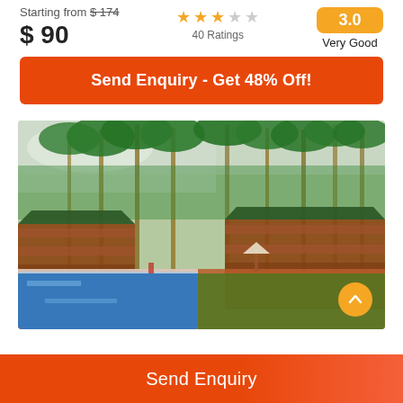Starting from $ 174
$ 90
40 Ratings
3.0 Very Good
Send Enquiry - Get 48% Off!
[Figure (photo): Aerial view of a tropical resort with a blue swimming pool, terracotta patio, tall palm trees, and multi-storey wooden resort buildings surrounded by lush green vegetation.]
Send Enquiry